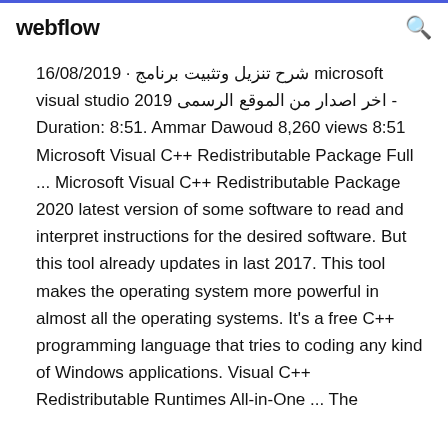webflow
16/08/2019 · شرح تنزيل وتثبيت برنامج microsoft visual studio 2019 اخر اصدار من الموقع الرسمى - Duration: 8:51. Ammar Dawoud 8,260 views 8:51 Microsoft Visual C++ Redistributable Package Full ... Microsoft Visual C++ Redistributable Package 2020 latest version of some software to read and interpret instructions for the desired software. But this tool already updates in last 2017. This tool makes the operating system more powerful in almost all the operating systems. It's a free C++ programming language that tries to coding any kind of Windows applications. Visual C++ Redistributable Runtimes All-in-One ... The